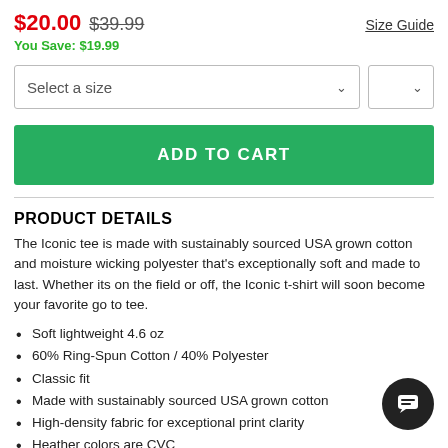$20.00 $39.99   Size Guide
You Save: $19.99
Select a size [dropdown] [dropdown]
ADD TO CART
PRODUCT DETAILS
The Iconic tee is made with sustainably sourced USA grown cotton and moisture wicking polyester that's exceptionally soft and made to last. Whether its on the field or off, the Iconic t-shirt will soon become your favorite go to tee.
Soft lightweight 4.6 oz
60% Ring-Spun Cotton / 40% Polyester
Classic fit
Made with sustainably sourced USA grown cotton
High-density fabric for exceptional print clarity
Heather colors are CVC